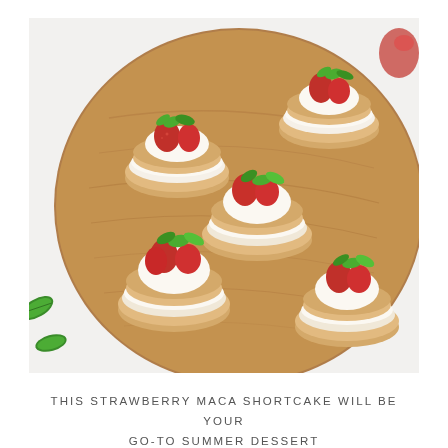[Figure (photo): Overhead view of strawberry shortcake mini desserts on a round wooden serving board. Each dessert consists of layered biscuit rounds topped with whipped cream, fresh strawberries, and mint leaves. Some loose mint leaves are visible on the white background around the board.]
THIS STRAWBERRY MACA SHORTCAKE WILL BE YOUR GO-TO SUMMER DESSERT